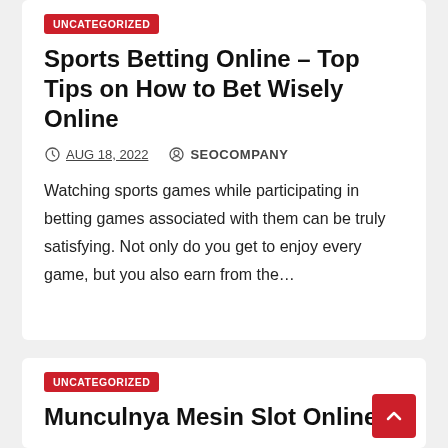UNCATEGORIZED
Sports Betting Online – Top Tips on How to Bet Wisely Online
AUG 18, 2022   SEOCOMPANY
Watching sports games while participating in betting games associated with them can be truly satisfying. Not only do you get to enjoy every game, but you also earn from the…
UNCATEGORIZED
Munculnya Mesin Slot Online